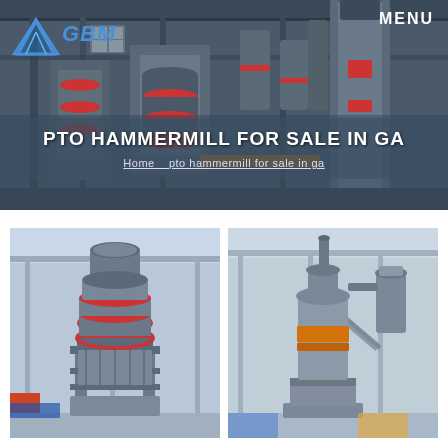[Figure (photo): Industrial mining/milling machinery facility banner image showing large cylindrical grinding mills and processing equipment in a factory hall]
MENU
[Figure (logo): GBM logo with blue mountain/triangle icon and bold italic GBM text in blue]
PTO HAMMERMILL FOR SALE IN GA
Home   pto hammermill for sale in ga
[Figure (photo): Industrial grinding mill machine (cone/hammer mill) in a factory, gray metal body with red rings/bands, viewed from front]
[Figure (photo): Industrial vertical grinding mill machine in a factory setting, large cylindrical drum, gray with orange-yellow accent, dust collection equipment visible]